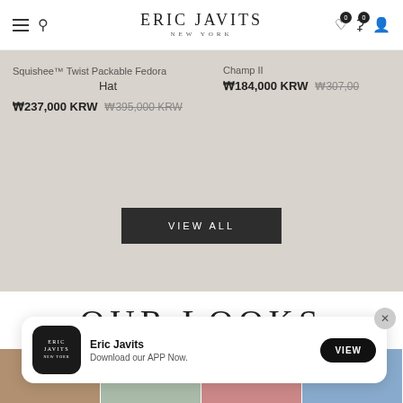Eric Javits New York — navigation bar with hamburger, search, brand logo, wishlist (0), cart (0), account icons
Squishee™ Twist Packable Fedora Hat
₩237,000 KRW  ₩395,000 KRW (strikethrough)
Champ II
₩184,000 KRW  ₩307,00 (strikethrough)
VIEW ALL
OUR LOOKS
[Figure (photo): Horizontal strip of four fashion lifestyle photos at bottom of page]
Eric Javits
Download our APP Now.
VIEW